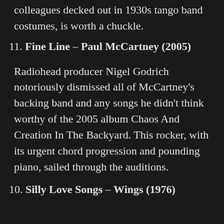colleagues decked out in 1930s tango band costumes, is worth a chuckle.
11. Fine Line – Paul McCartney (2005)
Radiohead producer Nigel Godrich notoriously dismissed all of McCartney's backing band and any songs he didn't think worthy of the 2005 album Chaos And Creation In The Backyard. This rocker, with its urgent chord progression and pounding piano, sailed through the auditions.
10. Silly Love Songs – Wings (1976)